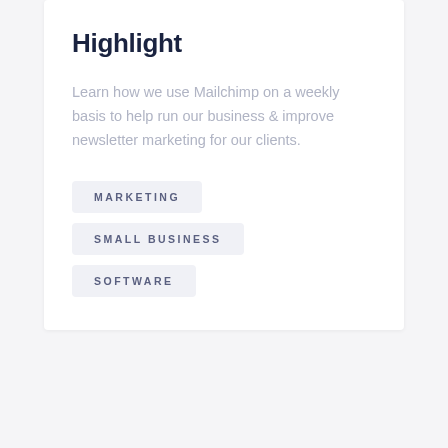Highlight
Learn how we use Mailchimp on a weekly basis to help run our business & improve newsletter marketing for our clients.
MARKETING
SMALL BUSINESS
SOFTWARE